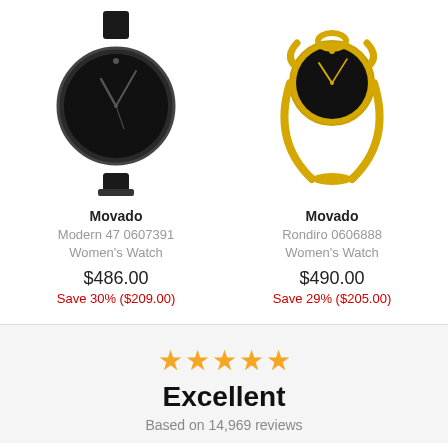[Figure (photo): Movado Modern 47 0607391 Women's Watch - black dial, dark case with leather strap]
Movado
Modern 47 0607391
Women's Watch
$486.00
Save 30% ($209.00)
[Figure (photo): Movado Rondiro 0606888 Women's Watch - black dial, gold-tone bangle bracelet]
Movado
Rondiro 0606888
Women's Watch
$490.00
Save 29% ($205.00)
[Figure (infographic): Five yellow stars rating]
Excellent
Based on 14,969 reviews